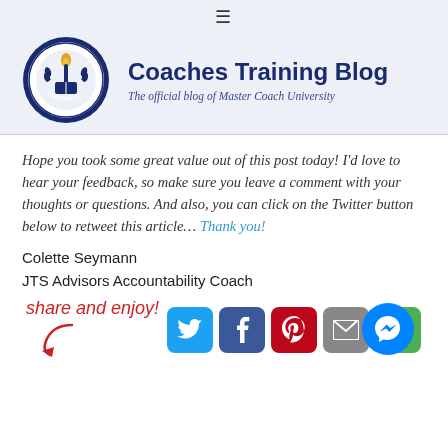Coaches Training Blog — The official blog of Master Coach University
Hope you took some great value out of this post today! I'd love to hear your feedback, so make sure you leave a comment with your thoughts or questions. And also, you can click on the Twitter button below to retweet this article... Thank you!
Colette Seymann
JTS Advisors Accountability Coach
[Figure (infographic): Share and enjoy! handwritten red text with arrow pointing to social share buttons (Twitter, Facebook, Pinterest, Email, Google). A blue Messenger chat bubble icon in the bottom right.]